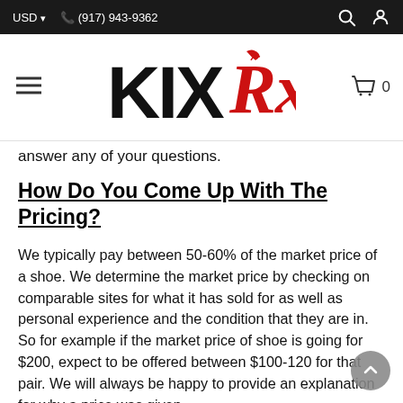USD ▾  ☎ (917) 943-9362
[Figure (logo): KIXRx logo — KIX in bold black block letters, Rx in italic red script]
answer any of your questions.
How Do You Come Up With The Pricing?
We typically pay between 50-60% of the market price of a shoe. We determine the market price by checking on comparable sites for what it has sold for as well as personal experience and the condition that they are in. So for example if the market price of shoe is going for $200, expect to be offered between $100-120 for that pair. We will always be happy to provide an explanation for why a price was given.